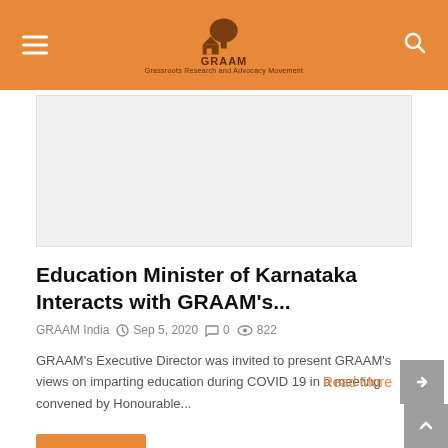GRAAM – Grassroots Research and Advocacy Movement
[Figure (photo): Article header image placeholder (light gray rectangle)]
Education Minister of Karnataka Interacts with GRAAM's...
GRAAM India   Sep 5, 2020   0   822
GRAAM's Executive Director was invited to present GRAAM's views on imparting education during COVID 19 in a meeting convened by Honourable...
Read More